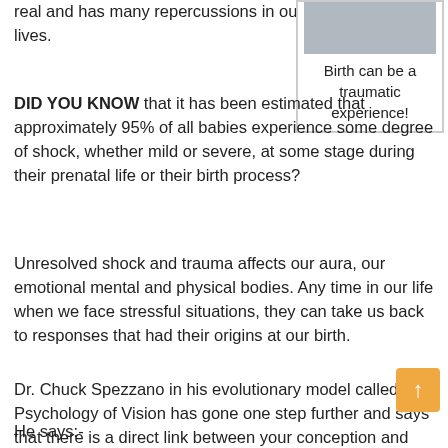real and has many repercussions in our lives.
[Figure (photo): Black and white photo of a baby at birth, partially visible at top of callout box. Caption reads: Birth can be a traumatic experience!]
Birth can be a traumatic experience!
DID YOU KNOW that it has been estimated that approximately 95% of all babies experience some degree of shock, whether mild or severe, at some stage during their prenatal life or their birth process?
Unresolved shock and trauma affects our aura, our emotional mental and physical bodies. Any time in our life when we face stressful situations, they can take us back to responses that had their origins at our birth.
Dr. Chuck Spezzano in his evolutionary model called Psychology of Vision has gone one step further and says that there is a direct link between your conception and your birth.
He says:-